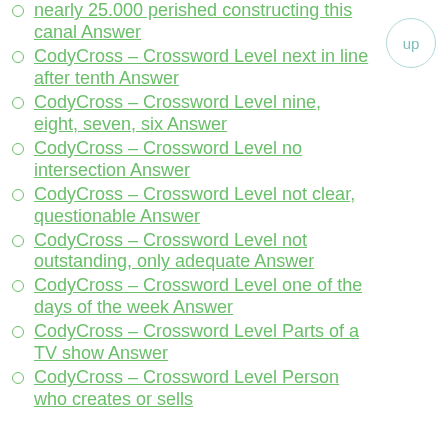nearly 25.000 perished constructing this canal Answer
CodyCross – Crossword Level next in line after tenth Answer
CodyCross – Crossword Level nine, eight, seven, six Answer
CodyCross – Crossword Level no intersection Answer
CodyCross – Crossword Level not clear, questionable Answer
CodyCross – Crossword Level not outstanding, only adequate Answer
CodyCross – Crossword Level one of the days of the week Answer
CodyCross – Crossword Level Parts of a TV show Answer
CodyCross – Crossword Level Person who creates or sells